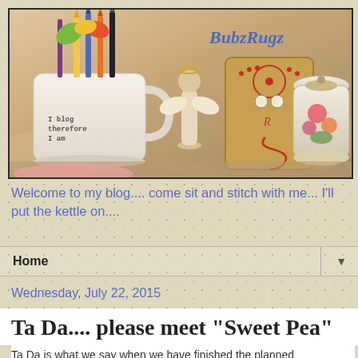[Figure (photo): Blog header photo showing a white ceramic mug with 'I blog therefore I am' text, craft supplies including pencils and colorful paper leaves, a wooden angel figurine, a cross-stitch pincushion, and a decorative ginger jar, with 'BubzRugz' text overlay in blue italic script]
Welcome to my blog.... come sit and stitch with me... I'll put the kettle on....
Home
Wednesday, July 22, 2015
Ta Da.... please meet "Sweet Pea"
Ta Da is what we say when we have finished the planned